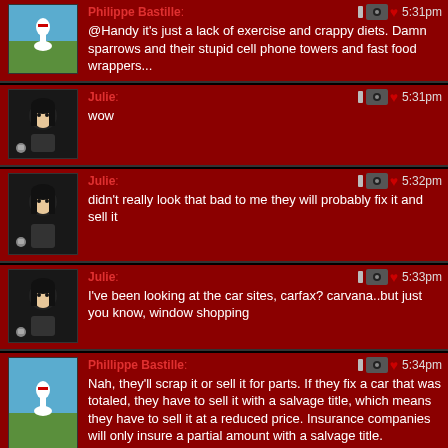Philippe Bastille: @Handy it's just a lack of exercise and crappy diets. Damn sparrows and their stupid cell phone towers and fast food wrappers... 5:31pm
Julie: wow 5:31pm
Julie: didn't really look that bad to me they will probably fix it and sell it 5:32pm
Julie: I've been looking at the car sites, carfax? carvana..but just you know, window shopping 5:33pm
Phillippe Bastille: Nah, they'll scrap it or sell it for parts. If they fix a car that was totaled, they have to sell it with a salvage title, which means they have to sell it at a reduced price. Insurance companies will only insure a partial amount with a salvage title. 5:34pm
Photocopy Cha Cha 2000: I probably have not heard this loveliescrushing album... 5:38pm